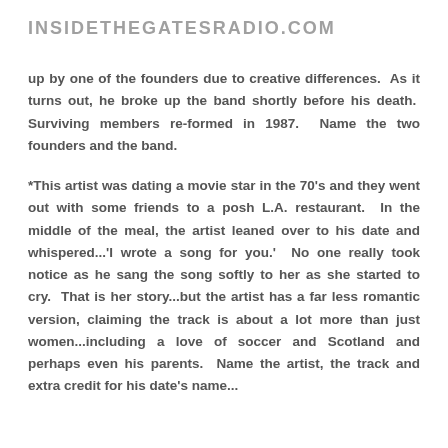INSIDETHEGATESRADIO.COM
up by one of the founders due to creative differences.  As it turns out, he broke up the band shortly before his death.  Surviving members re-formed in 1987.  Name the two founders and the band.
*This artist was dating a movie star in the 70's and they went out with some friends to a posh L.A. restaurant.  In the middle of the meal, the artist leaned over to his date and whispered...'I wrote a song for you.'  No one really took notice as he sang the song softly to her as she started to cry.  That is her story...but the artist has a far less romantic version, claiming the track is about a lot more than just women...including a love of soccer and Scotland and perhaps even his parents.  Name the artist, the track and extra credit for his date's name...